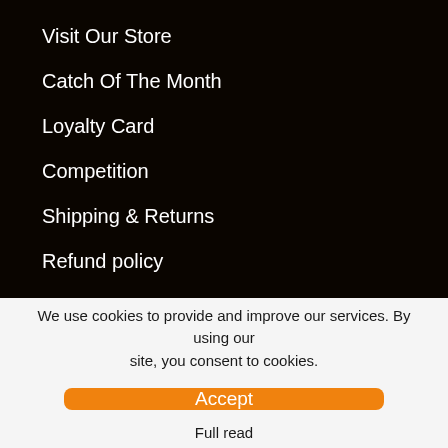Visit Our Store
Catch Of The Month
Loyalty Card
Competition
Shipping & Returns
Refund policy
We use cookies to provide and improve our services. By using our site, you consent to cookies.
Accept
Full read